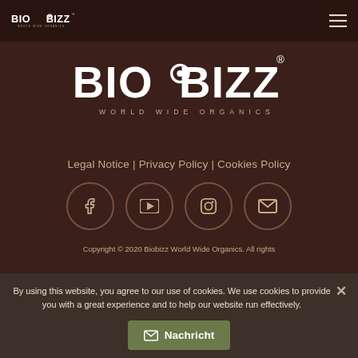BioBizz World Wide Organics - header with logo and hamburger menu
[Figure (logo): BioBizz World Wide Organics large white logo centered on dark brown background]
Legal Notice | Privacy Policy | Cookies Policy
[Figure (infographic): Row of four social media icon circles: Facebook, YouTube, Instagram, Email]
Copyright © 2020 Biobizz World Wide Organics. All rights
By using this website, you agree to our use of cookies. We use cookies to provide you with a great experience and to help our website run effectively.
Nachricht